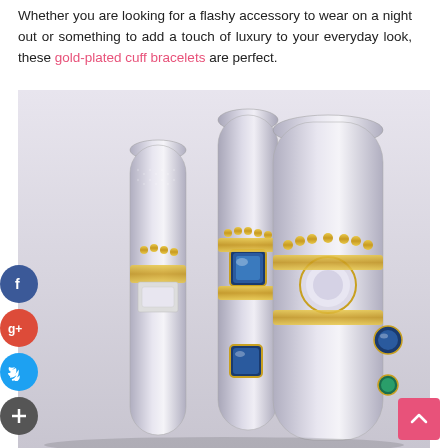Whether you are looking for a flashy accessory to wear on a night out or something to add a touch of luxury to your everyday look, these gold-plated cuff bracelets are perfect.
[Figure (photo): Close-up photo of several diamond and gold-plated cuff bracelets standing upright, featuring blue gemstone accents on silver and gold encrusted bands.]